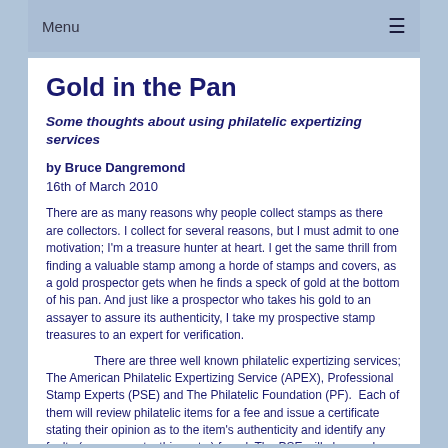Menu ≡
Gold in the Pan
Some thoughts about using philatelic expertizing services
by Bruce Dangremond
16th of March 2010
There are as many reasons why people collect stamps as there are collectors. I collect for several reasons, but I must admit to one motivation; I'm a treasure hunter at heart. I get the same thrill from finding a valuable stamp among a horde of stamps and covers, as a gold prospector gets when he finds a speck of gold at the bottom of his pan. And just like a prospector who takes his gold to an assayer to assure its authenticity, I take my prospective stamp treasures to an expert for verification.
There are three well known philatelic expertizing services; The American Philatelic Expertizing Service (APEX), Professional Stamp Experts (PSE) and The Philatelic Foundation (PF).  Each of them will review philatelic items for a fee and issue a certificate stating their opinion as to the item's authenticity and identify any faults (creases, cuts, thins, etc.) found. The PSE will also grade...